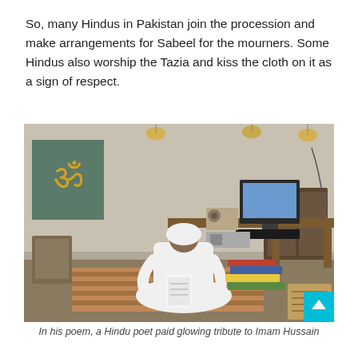So, many Hindus in Pakistan join the procession and make arrangements for Sabeel for the mourners. Some Hindus also worship the Tazia and kiss the cloth on it as a sign of respect.
[Figure (photo): An elderly man in white traditional clothing and white turban sits cross-legged on a mat holding a small book. Behind him is a wooden desk with a computer monitor, keyboard, and radio/speakers. On the wall is a painting with the Om symbol. Books and papers are stacked beside him.]
In his poem, a Hindu poet paid glowing tribute to Imam Hussain